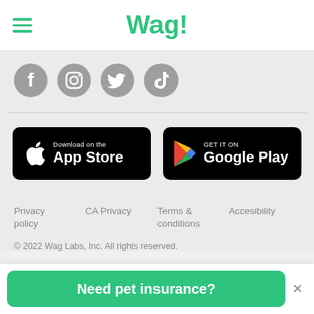Wag!
[Figure (other): Social media icons row: Facebook, Instagram, Twitter, TikTok]
[Figure (other): Download on the App Store button (black rounded rectangle with Apple logo)]
[Figure (other): GET IT ON Google Play button (black rounded rectangle with Google Play logo)]
Privacy policy
CA Privacy
Terms & conditions
Accesibility
© 2022 Wag Labs, Inc. All rights reserved.
Need pet insurance?